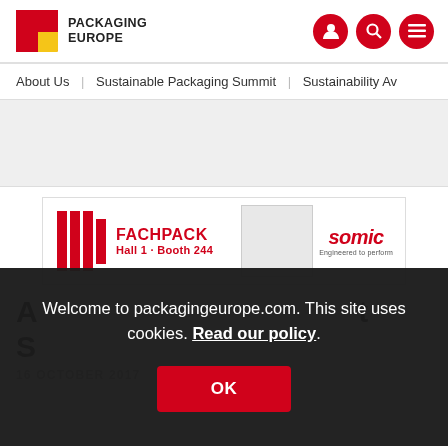PACKAGING EUROPE
About Us | Sustainable Packaging Summit | Sustainability Aw...
[Figure (screenshot): Grey advertisement placeholder area]
[Figure (screenshot): Fachpack Hall 1 · Booth 244 – Somic advertisement banner]
Welcome to packagingeurope.com. This site uses cookies. Read our policy.
OK
A... t S...
16 OCTOBER 2017